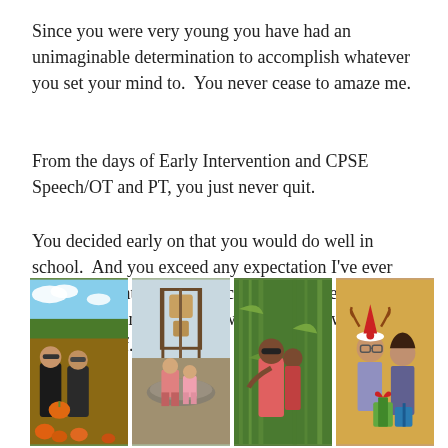Since you were very young you have had an unimaginable determination to accomplish whatever you set your mind to.  You never cease to amaze me.
From the days of Early Intervention and CPSE Speech/OT and PT, you just never quit.
You decided early on that you would do well in school.  And you exceed any expectation I've ever had.  You continue to seek classes because you genuinely want to learn new things.  You want to be your best self.
[Figure (photo): Four photographs arranged in a horizontal row. Photo 1: Two women outdoors at a pumpkin patch, one holding a pumpkin. Photo 2: A woman and child sitting on an outdoor fountain/structure. Photo 3: Two women outdoors among tall plants/corn. Photo 4: Two women indoors, one wearing a reindeer/Santa hat, one wearing glasses, at a Christmas gathering.]